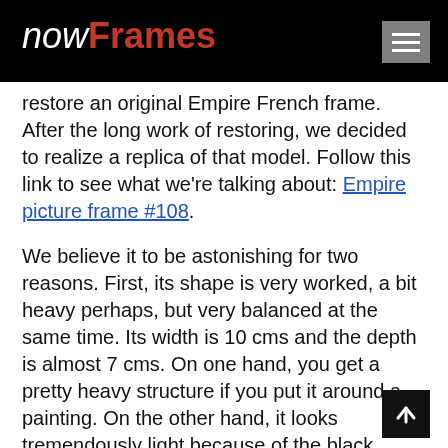nowFrames
restore an original Empire French frame. After the long work of restoring, we decided to realize a replica of that model. Follow this link to see what we're talking about: Empire picture frame #108.
We believe it to be astonishing for two reasons. First, its shape is very worked, a bit heavy perhaps, but very balanced at the same time. Its width is 10 cms and the depth is almost 7 cms. On one hand, you get a pretty heavy structure if you put it around a painting. On the other hand, it looks tremendously light because of the black paint.